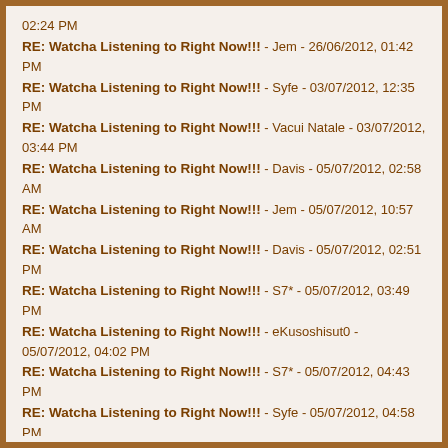RE: Watcha Listening to Right Now!!! - [partial, date cut] 02:24 PM
RE: Watcha Listening to Right Now!!! - Jem - 26/06/2012, 01:42 PM
RE: Watcha Listening to Right Now!!! - Syfe - 03/07/2012, 12:35 PM
RE: Watcha Listening to Right Now!!! - Vacui Natale - 03/07/2012, 03:44 PM
RE: Watcha Listening to Right Now!!! - Davis - 05/07/2012, 02:58 AM
RE: Watcha Listening to Right Now!!! - Jem - 05/07/2012, 10:57 AM
RE: Watcha Listening to Right Now!!! - Davis - 05/07/2012, 02:51 PM
RE: Watcha Listening to Right Now!!! - S7* - 05/07/2012, 03:49 PM
RE: Watcha Listening to Right Now!!! - eKusoshisut0 - 05/07/2012, 04:02 PM
RE: Watcha Listening to Right Now!!! - S7* - 05/07/2012, 04:43 PM
RE: Watcha Listening to Right Now!!! - Syfe - 05/07/2012, 04:58 PM
RE: Watcha Listening to Right Now!!! - Davis - 07/07/2012, 03:40 PM
RE: Watcha Listening to Right Now!!! - S7* - 10/07/2012, 07:45 AM
RE: Watcha Listening to Right Now!!! - asurabp - 10/07/2012, 08:03 AM
RE: Watcha Listening to Right Now!!! - Venom - 10/07/2012, 09:45 AM
RE: Watcha Listening to Right Now!!! - Davis - 12/07/2012, 06:35 PM
RE: Watcha Listening to Right Now!!! - eKusoshisut0 - 13/07/2012, 04:30 AM
RE: Watcha Listening to Right Now!!! - S7* - 13/07/2012, 05:09 AM
RE: Watcha Listening to Right Now!!! - Vacui Natale - 13/07/2012, 06:55 AM
RE: Watcha Listening to Right Now!!! - Bou-kun - 13/07/2012, 09:06